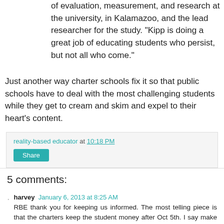of evaluation, measurement, and research at the university, in Kalamazoo, and the lead researcher for the study. “Kipp is doing a great job of educating students who persist, but not all who come.”
Just another way charter schools fix it so that public schools have to deal with the most challenging students while they get to cream and skim and expel to their heart's content.
reality-based educator at 10:18 PM
Share
5 comments:
harvey January 6, 2013 at 8:25 AM
RBE thank you for keeping us informed. The most telling piece is that the charters keep the student money after Oct 5th. I say make the charters keep the kids for the entire